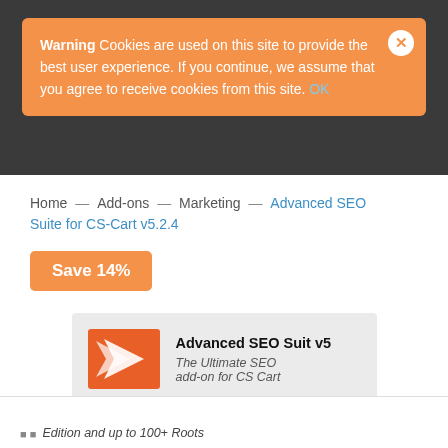Warning  Cookies are used on this site to provide the best user experience. If you continue, we assume that you agree to receive cookies from this site. OK
Home — Add-ons — Marketing — Advanced SEO Suite for CS-Cart v5.2.4
Save 14%
[Figure (logo): Advanced SEO Suit v5 product card with orange arrow logo, title 'Advanced SEO Suit v5' and subtitle 'The Ultimate SEO add-on for CS Cart']
Edition and up to 100+ Roots